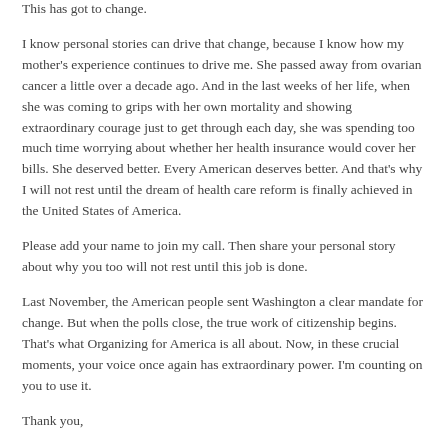curtailing job growth and slowing the economy at the worst possible time. This has got to change.
I know personal stories can drive that change, because I know how my mother's experience continues to drive me. She passed away from ovarian cancer a little over a decade ago. And in the last weeks of her life, when she was coming to grips with her own mortality and showing extraordinary courage just to get through each day, she was spending too much time worrying about whether her health insurance would cover her bills. She deserved better. Every American deserves better. And that's why I will not rest until the dream of health care reform is finally achieved in the United States of America.
Please add your name to join my call. Then share your personal story about why you too will not rest until this job is done.
Last November, the American people sent Washington a clear mandate for change. But when the polls close, the true work of citizenship begins. That's what Organizing for America is all about. Now, in these crucial moments, your voice once again has extraordinary power. I'm counting on you to use it.
Thank you,